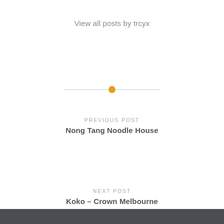View all posts by trcyx
[Figure (other): Horizontal divider with a gold/amber circle dot in the center and thin grey lines on each side]
PREVIOUS POST
Nong Tang Noodle House
NEXT POST
Koko – Crown Melbourne